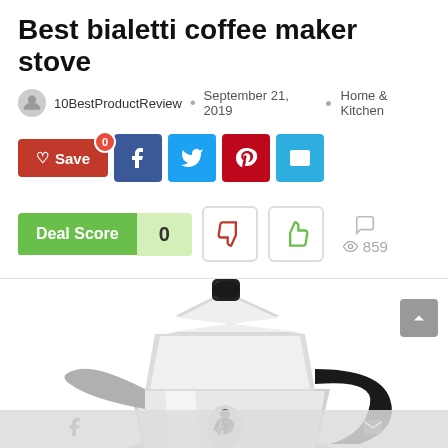Best bialetti coffee maker stove
10BestProductReview • September 21, 2019 ◦ Home & Kitchen
[Figure (infographic): Social sharing bar with Save button (red), Facebook (blue), Twitter (light blue), Pinterest (red), Email (blue) buttons]
[Figure (infographic): Deal Score widget showing score of 0, thumbs down and thumbs up vote buttons, comment icon, and 859 views counter]
[Figure (photo): Bialetti stovetop espresso maker (moka pot) in aluminum with black handle and knob, Bialetti logo visible on body]